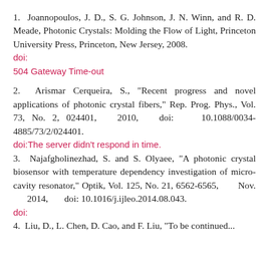1. Joannopoulos, J. D., S. G. Johnson, J. N. Winn, and R. D. Meade, Photonic Crystals: Molding the Flow of Light, Princeton University Press, Princeton, New Jersey, 2008. doi: 504 Gateway Time-out
2. Arismar Cerqueira, S., "Recent progress and novel applications of photonic crystal fibers," Rep. Prog. Phys., Vol. 73, No. 2, 024401, 2010, doi: 10.1088/0034-4885/73/2/024401. doi:The server didn't respond in time.
3. Najafgholinezhad, S. and S. Olyaee, "A photonic crystal biosensor with temperature dependency investigation of micro-cavity resonator," Optik, Vol. 125, No. 21, 6562-6565, Nov. 2014, doi: 10.1016/j.ijleo.2014.08.043. doi:
4. Liu, D., L. Chen, D. Cao, and F. Liu, "To be continued..."